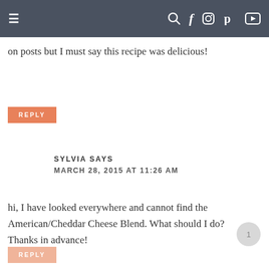≡  [search] [facebook] [instagram] [pinterest] [youtube]
on posts but I must say this recipe was delicious!
REPLY
SYLVIA SAYS
MARCH 28, 2015 AT 11:26 AM
hi, I have looked everywhere and cannot find the American/Cheddar Cheese Blend. What should I do? Thanks in advance!
REPLY